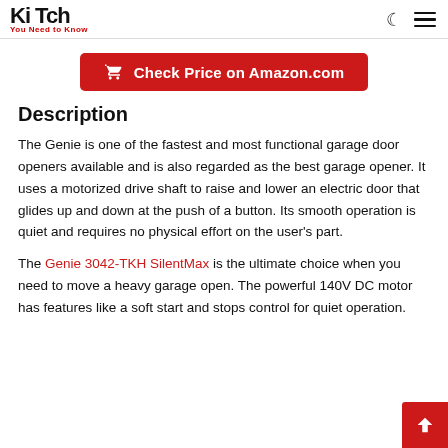Ki Tch — You Need to Know
[Figure (other): Red button with shopping cart icon: Check Price on Amazon.com]
Description
The Genie is one of the fastest and most functional garage door openers available and is also regarded as the best garage opener. It uses a motorized drive shaft to raise and lower an electric door that glides up and down at the push of a button. Its smooth operation is quiet and requires no physical effort on the user's part.
The Genie 3042-TKH SilentMax is the ultimate choice when you need to move a heavy garage open. The powerful 140V DC motor has features like a soft start and stops control for quiet operation.